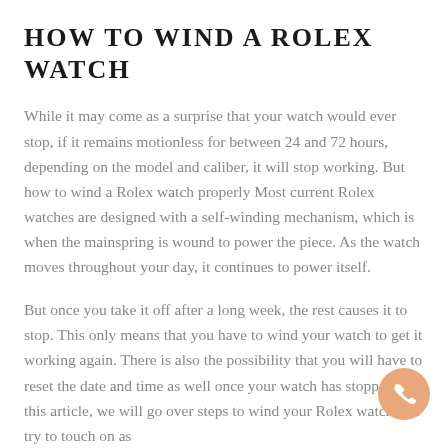HOW TO WIND A ROLEX WATCH
While it may come as a surprise that your watch would ever stop, if it remains motionless for between 24 and 72 hours, depending on the model and caliber, it will stop working. But how to wind a Rolex watch properly Most current Rolex watches are designed with a self-winding mechanism, which is when the mainspring is wound to power the piece. As the watch moves throughout your day, it continues to power itself.
But once you take it off after a long week, the rest causes it to stop. This only means that you have to wind your watch to get it working again. There is also the possibility that you will have to reset the date and time as well once your watch has stopped. In this article, we will go over steps to wind your Rolex watch and try to touch on as